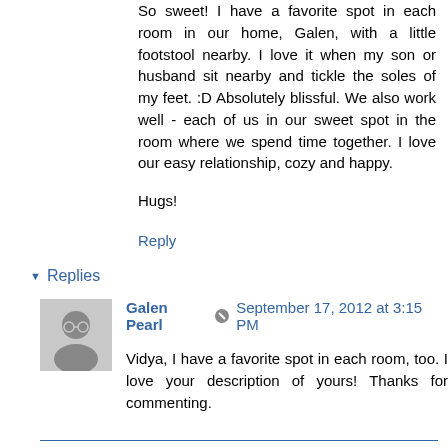So sweet! I have a favorite spot in each room in our home, Galen, with a little footstool nearby. I love it when my son or husband sit nearby and tickle the soles of my feet. :D Absolutely blissful. We also work well - each of us in our sweet spot in the room where we spend time together. I love our easy relationship, cozy and happy.
Hugs!
Reply
Replies
Galen Pearl
September 17, 2012 at 3:15 PM
Vidya, I have a favorite spot in each room, too. I love your description of yours! Thanks for commenting.
Reply
LeAnn
September 17, 2012 at 11:01 AM